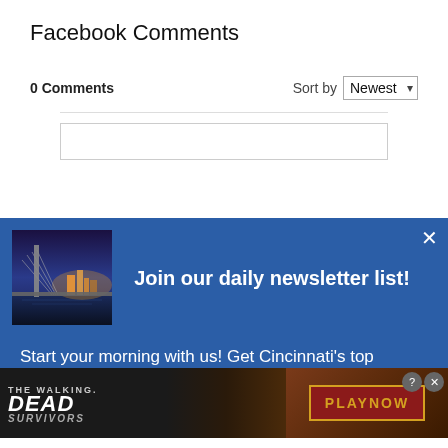Facebook Comments
0 Comments
Sort by Newest
[Figure (screenshot): Newsletter popup overlay on blue background with bridge photo and text 'Join our daily newsletter list!' and 'Start your morning with us! Get Cincinnati's top stories']
[Figure (screenshot): Ad banner for 'The Walking Dead: Survivors' game with zombie imagery and 'PLAY NOW' button]